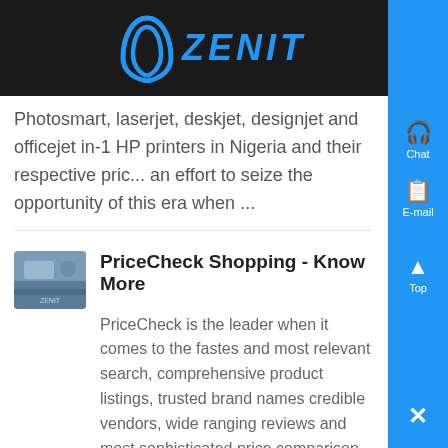ZENIT
Photosmart, laserjet, deskjet, designjet and officejet in-1 HP printers in Nigeria and their respective price an effort to seize the opportunity of this era when ...
[Figure (photo): Small thumbnail photo with aerial/landscape imagery]
PriceCheck Shopping - Know More
PriceCheck is the leader when it comes to the fastest and most relevant search, comprehensive product listings, trusted brand names credible vendors, wide ranging reviews and most sophisticated price comparison technology...
[Figure (photo): Small thumbnail photo with industrial/building imagery]
Slot Nigeria Mobile Phones List Current Price in , - Know More
Slot Nigeria Phones List and Prices in Nigeria This